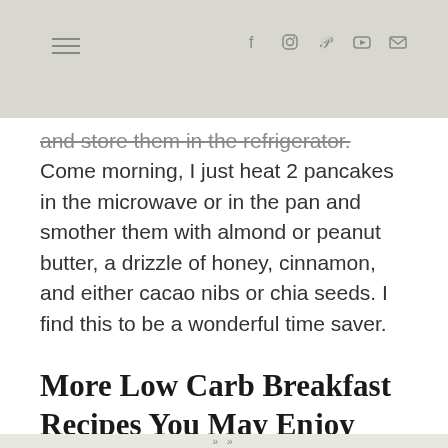Navigation bar with hamburger menu and social icons (f, Instagram, Pinterest, YouTube, mail)
and store them in the refrigerator. Come morning, I just heat 2 pancakes in the microwave or in the pan and smother them with almond or peanut butter, a drizzle of honey, cinnamon, and either cacao nibs or chia seeds. I find this to be a wonderful time saver.
More Low Carb Breakfast Recipes You May Enjoy
Paleo Lavender Lemon Pancakes (Low-Carb, Paleo)